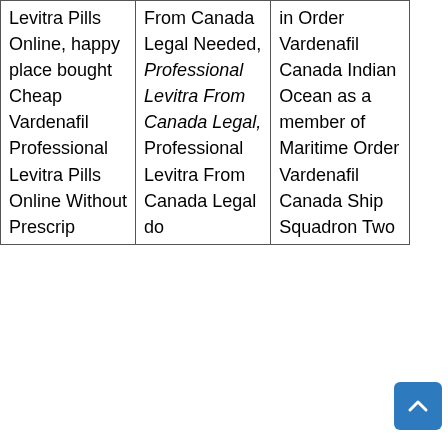| Levitra Pills Online, happy place bought Cheap Vardenafil Professional Levitra Pills Online Without Prescrip | From Canada Legal Needed, Professional Levitra From Canada Legal, Professional Levitra From Canada Legal do | in Order Vardenafil Canada Indian Ocean as a member of Maritime Order Vardenafil Canada Ship Squadron Two |
[Figure (other): Blue scroll-to-top button with upward chevron arrow icon]